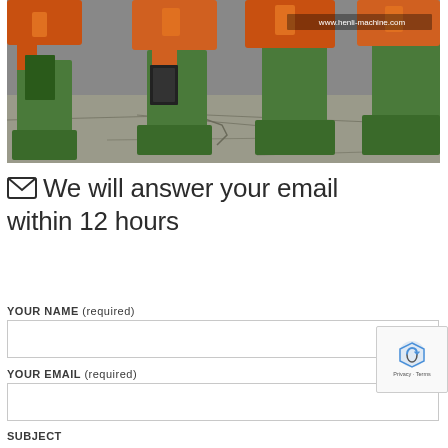[Figure (photo): Industrial machines with orange and green components (appears to be rubber band cutting or similar machinery) in a factory setting, with watermark www.henli-machine.com]
We will answer your email within 12 hours
YOUR NAME (required)
YOUR EMAIL (required)
SUBJECT